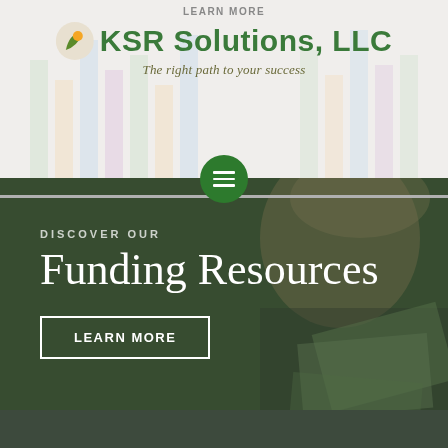[Figure (screenshot): KSR Solutions LLC website header with logo, tagline 'The right path to your success', navigation menu button, and hero section showing 'Discover Our Funding Resources' with a Learn More button overlaid on a dark-tinted photo of a person holding money.]
LEARN MORE
KSR Solutions, LLC
The right path to your success
DISCOVER OUR
Funding Resources
LEARN MORE